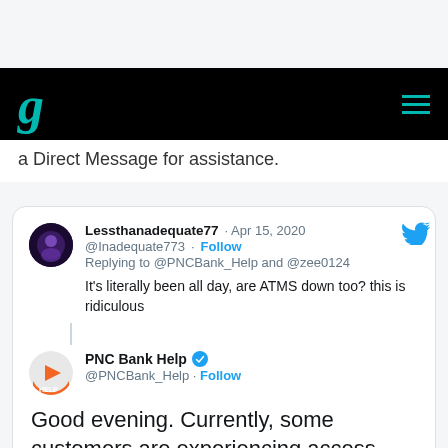g (Goodreads-style logo navigation bar)
a Direct Message for assistance.
[Figure (screenshot): Embedded tweet from @Inadequate773 (Lessthanadequate77) dated Apr 15, 2020 replying to @PNCBank_Help and @zee0124: 'It's literally been all day, are ATMS down too? this is ridiculous']
PNC Bank Help @PNCBank_Help · Follow
Good evening. Currently, some customers are experiencing access issues with online and mobile banking. Our tech teams are working diligently to resolve this. Thanks for your patience. If